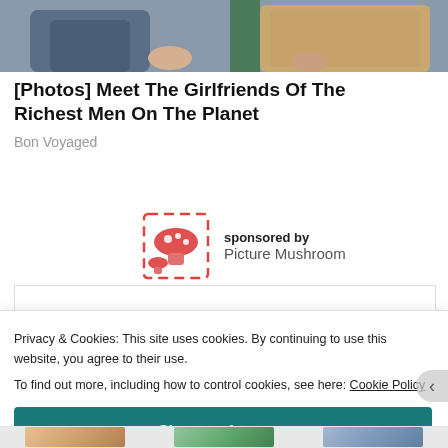[Figure (photo): Cropped photo of two people sitting together, partial view showing laps and hands]
[Photos] Meet The Girlfriends Of The Richest Men On The Planet
Bon Voyaged
[Figure (logo): Picture Mushroom app logo: red mushroom icon with camera focus brackets, sponsored by Picture Mushroom]
sponsored by
Picture Mushroom
Privacy & Cookies: This site uses cookies. By continuing to use this website, you agree to their use.
To find out more, including how to control cookies, see here: Cookie Policy
Close and accept